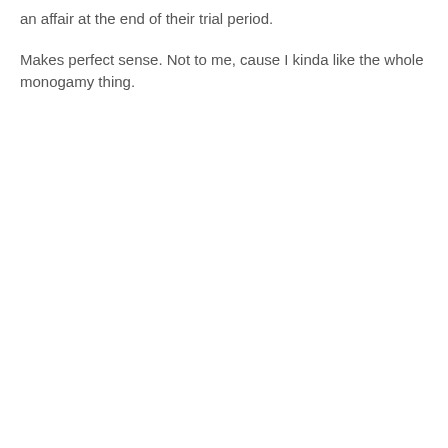an affair at the end of their trial period.
Makes perfect sense. Not to me, cause I kinda like the whole monogamy thing.